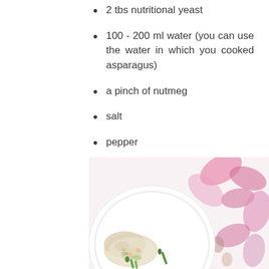2 tbs nutritional yeast
100 - 200 ml water (you can use the water in which you cooked asparagus)
a pinch of nutmeg
salt
pepper
[Figure (photo): A white plate with pasta and asparagus in a creamy sauce, on a floral pink and white patterned background/tablecloth]